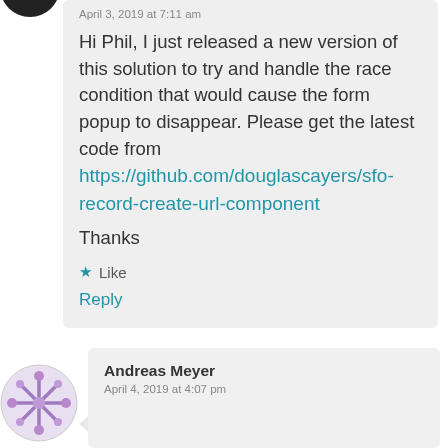April 3, 2019 at 7:11 am
Hi Phil, I just released a new version of this solution to try and handle the race condition that would cause the form popup to disappear. Please get the latest code from https://github.com/douglascayers/sfo-record-create-url-component
Thanks
Like
Reply
Andreas Meyer
April 4, 2019 at 4:07 pm